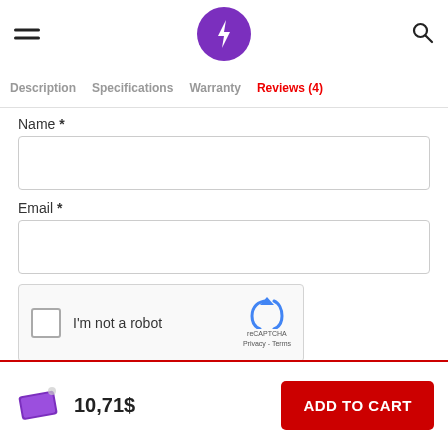Header with hamburger menu, lightning bolt logo, and search icon
Description  Specifications  Warranty  Reviews (4)
Name *
Email *
[Figure (screenshot): reCAPTCHA widget: checkbox, 'I'm not a robot' text, reCAPTCHA logo with 'reCAPTCHA Privacy - Terms']
Submit
10,71$  ADD TO CART